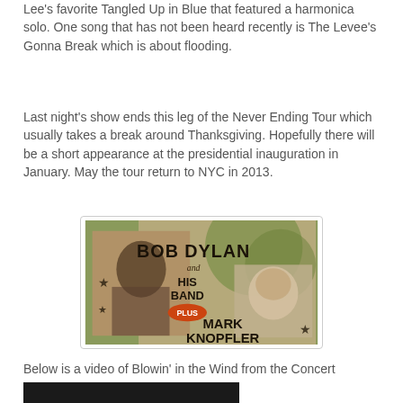Lee's favorite Tangled Up in Blue that featured a harmonica solo.  One song that has not been heard recently is The Levee's Gonna Break which is about flooding.
Last night's show ends this leg of the Never Ending Tour which usually takes a break around Thanksgiving.  Hopefully there will be a short appearance at the presidential inauguration in January.  May the tour return to NYC in 2013.
[Figure (illustration): Concert poster for Bob Dylan and His Band plus Mark Knopfler. Green and tan background with star decorations. Bob Dylan photo on left in sepia tone, Mark Knopfler photo on right.]
Below is a video of Blowin' in the Wind from the Concert
[Figure (screenshot): Black video player rectangle, a video of Blowin' in the Wind from the concert.]